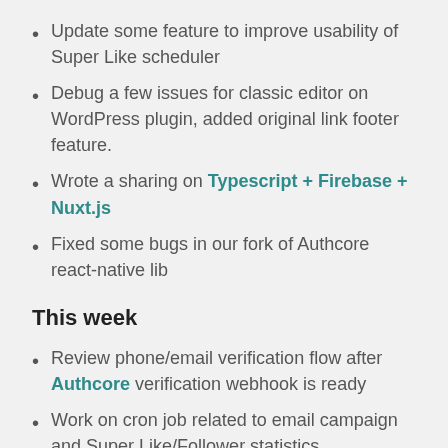Update some feature to improve usability of Super Like scheduler
Debug a few issues for classic editor on WordPress plugin, added original link footer feature.
Wrote a sharing on Typescript + Firebase + Nuxt.js
Fixed some bugs in our fork of Authcore react-native lib
This week
Review phone/email verification flow after Authcore verification webhook is ready
Work on cron job related to email campaign and Super Like/Follower statistics
Work on features related to App on board.